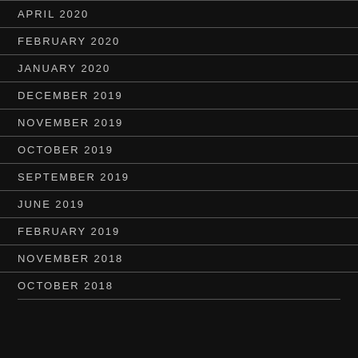APRIL 2020
FEBRUARY 2020
JANUARY 2020
DECEMBER 2019
NOVEMBER 2019
OCTOBER 2019
SEPTEMBER 2019
JUNE 2019
FEBRUARY 2019
NOVEMBER 2018
OCTOBER 2018